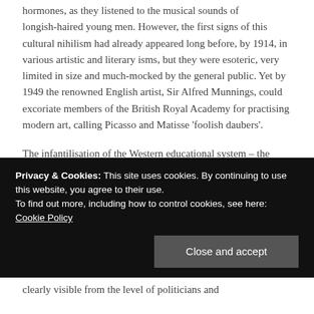hormones, as they listened to the musical sounds of longish-haired young men. However, the first signs of this cultural nihilism had already appeared long before, by 1914, in various artistic and literary isms, but they were esoteric, very limited in size and much-mocked by the general public. Yet by 1949 the renowned English artist, Sir Alfred Munnings, could excoriate members of the British Royal Academy for practising modern art, calling Picasso and Matisse 'foolish daubers'.
The infantilisation of the Western educational system – the primary that has become the nursery, the secondary that has become the primary and the tertiary
Privacy & Cookies: This site uses cookies. By continuing to use this website, you agree to their use.
To find out more, including how to control cookies, see here: Cookie Policy
clearly visible from the level of politicians and